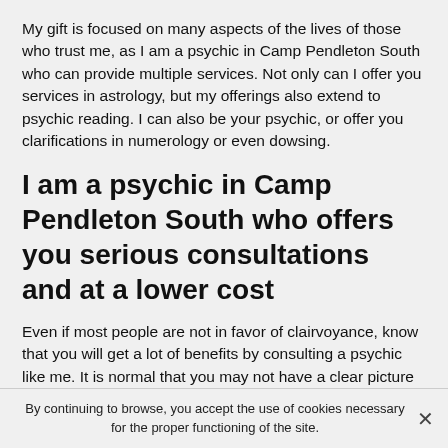My gift is focused on many aspects of the lives of those who trust me, as I am a psychic in Camp Pendleton South who can provide multiple services. Not only can I offer you services in astrology, but my offerings also extend to psychic reading. I can also be your psychic, or offer you clarifications in numerology or even dowsing.
I am a psychic in Camp Pendleton South who offers you serious consultations and at a lower cost
Even if most people are not in favor of clairvoyance, know that you will get a lot of benefits by consulting a psychic like me. It is normal that you may not have a clear picture of many aspects of your life. Events of the past as well as the present can however have an impact on your future. That's why, by referring to a psychic in Camp Pendleton
By continuing to browse, you accept the use of cookies necessary for the proper functioning of the site.